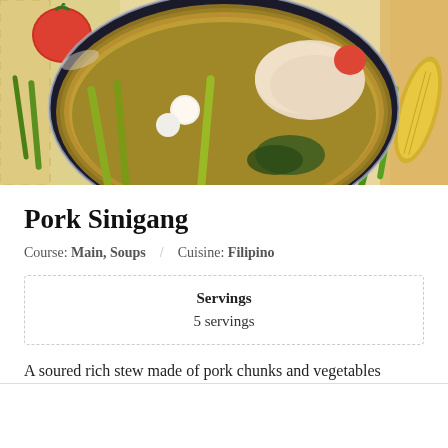[Figure (photo): A bowl of Pork Sinigang soup with pork chunks, long green beans (sitaw), leafy vegetables, and broth, surrounded by fresh tomatoes, green beans, and corn on a checkered cloth background.]
Pork Sinigang
Course: Main, Soups / Cuisine: Filipino
| Servings |
| --- |
| 5 servings |
A soured rich stew made of pork chunks and vegetables